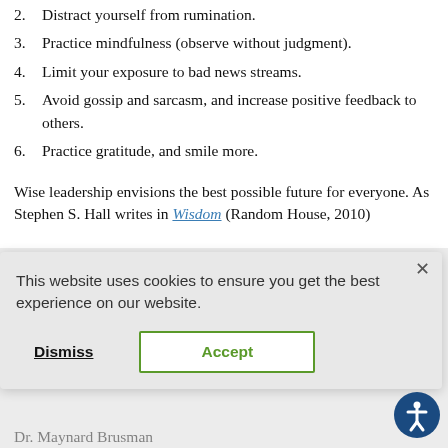2. Distract yourself from rumination.
3. Practice mindfulness (observe without judgment).
4. Limit your exposure to bad news streams.
5. Avoid gossip and sarcasm, and increase positive feedback to others.
6. Practice gratitude, and smile more.
Wise leadership envisions the best possible future for everyone. As Stephen S. Hall writes in Wisdom (Random House, 2010)...
This website uses cookies to ensure you get the best experience on our website.
Dr. Maynard Brusman